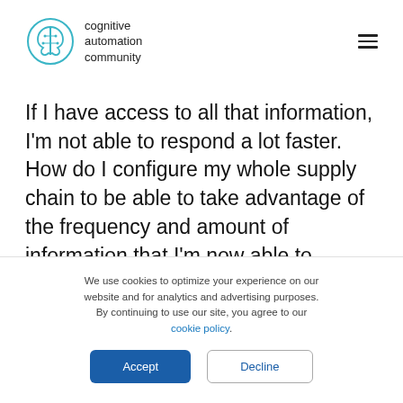[Figure (logo): Cognitive Automation Community brain logo with teal outline]
cognitive automation community
If I have access to all that information, I'm not able to respond a lot faster. How do I configure my whole supply chain to be able to take advantage of the frequency and amount of information that I'm now able to capture with this concept of DSN and IOT? If I can capture a lot more information, what is the type of math and the type of integration that I need to put in place to truly be able to say, “Information available make it usable to every node so they
We use cookies to optimize your experience on our website and for analytics and advertising purposes. By continuing to use our site, you agree to our cookie policy.
Accept
Decline